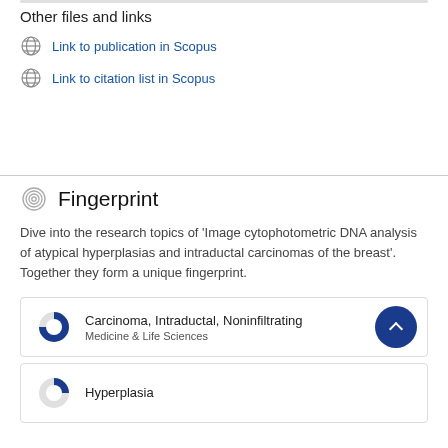Other files and links
Link to publication in Scopus
Link to citation list in Scopus
Fingerprint
Dive into the research topics of 'Image cytophotometric DNA analysis of atypical hyperplasias and intraductal carcinomas of the breast'. Together they form a unique fingerprint.
[Figure (other): Donut chart card showing Carcinoma, Intraductal, Noninfiltrating - Medicine & Life Sciences with a partially filled donut icon]
[Figure (other): Donut chart card showing Hyperplasia with a partially filled donut icon]